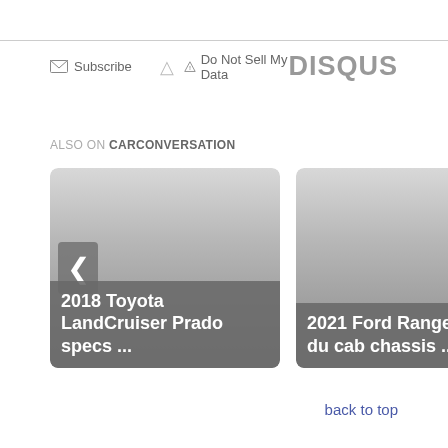Subscribe   Do Not Sell My Data   DISQUS
ALSO ON CARCONVERSATION
[Figure (screenshot): Card showing article: 2018 Toyota LandCruiser Prado specs ... with left chevron navigation arrow]
[Figure (screenshot): Card showing article: 2021 Ford Ranger XLT du cab chassis .. with right chevron navigation arrow]
back to top